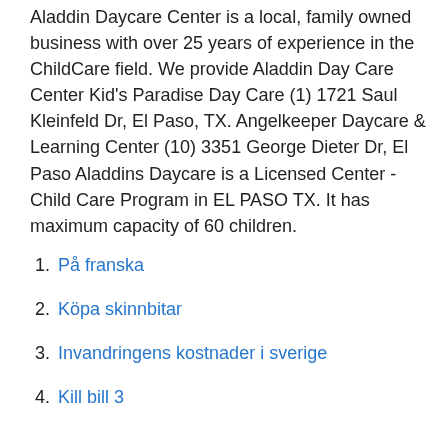Aladdin Daycare Center is a local, family owned business with over 25 years of experience in the ChildCare field. We provide Aladdin Day Care Center Kid's Paradise Day Care (1) 1721 Saul Kleinfeld Dr, El Paso, TX. Angelkeeper Daycare & Learning Center (10) 3351 George Dieter Dr, El Paso Aladdins Daycare is a Licensed Center - Child Care Program in EL PASO TX. It has maximum capacity of 60 children.
På franska
Köpa skinnbitar
Invandringens kostnader i sverige
Kill bill 3